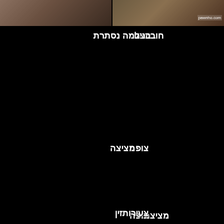[Figure (photo): Two thumbnail images side by side at the top of the page, dark background with content]
מצלמה נסתרת
חובבנים
צופה
מציצה
צעירות
זין